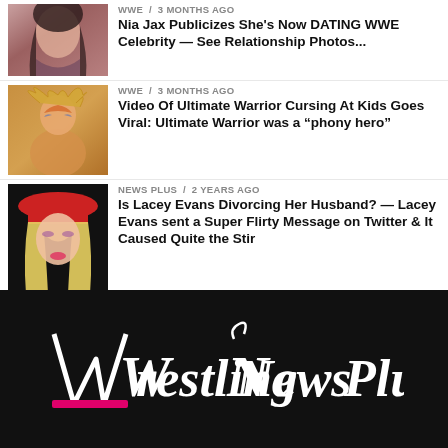[Figure (photo): Thumbnail photo of Nia Jax]
WWE / 3 months ago
Nia Jax Publicizes She's Now DATING WWE Celebrity — See Relationship Photos...
[Figure (photo): Thumbnail photo of Ultimate Warrior]
WWE / 3 months ago
Video Of Ultimate Warrior Cursing At Kids Goes Viral: Ultimate Warrior was a “phony hero”
[Figure (photo): Thumbnail photo of Lacey Evans]
NEWS PLUS / 2 years ago
Is Lacey Evans Divorcing Her Husband? — Lacey Evans sent a Super Flirty Message on Twitter & It Caused Quite the Stir
[Figure (logo): Wrestling News Plus logo in white script on black background]